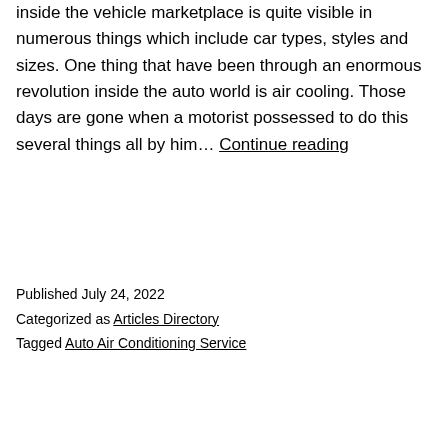inside the vehicle marketplace is quite visible in numerous things which include car types, styles and sizes. One thing that have been through an enormous revolution inside the auto world is air cooling. Those days are gone when a motorist possessed to do this several things all by him… Continue reading
Published July 24, 2022
Categorized as Articles Directory
Tagged Auto Air Conditioning Service